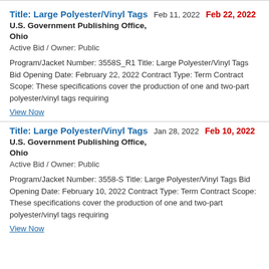Title: Large Polyester/Vinyl Tags  Feb 11, 2022  Feb 22, 2022
U.S. Government Publishing Office, Ohio
Active Bid / Owner: Public
Program/Jacket Number: 3558S_R1 Title: Large Polyester/Vinyl Tags Bid Opening Date: February 22, 2022 Contract Type: Term Contract Scope: These specifications cover the production of one and two-part polyester/vinyl tags requiring
View Now
Title: Large Polyester/Vinyl Tags  Jan 28, 2022  Feb 10, 2022
U.S. Government Publishing Office, Ohio
Active Bid / Owner: Public
Program/Jacket Number: 3558-S Title: Large Polyester/Vinyl Tags Bid Opening Date: February 10, 2022 Contract Type: Term Contract Scope: These specifications cover the production of one and two-part polyester/vinyl tags requiring
View Now